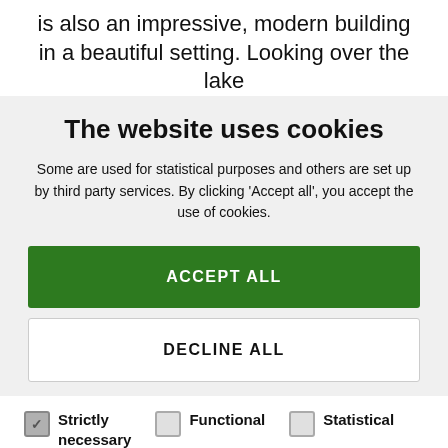is also an impressive, modern building in a beautiful setting. Looking over the lake
The website uses cookies
Some are used for statistical purposes and others are set up by third party services. By clicking 'Accept all', you accept the use of cookies.
ACCEPT ALL
DECLINE ALL
Strictly necessary
Functional
Statistical
Marketing
SHOW DETAILS